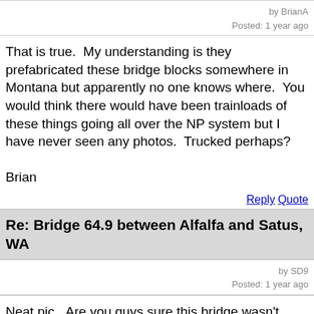by BrianA
Posted: 1 year ago
That is true.  My understanding is they prefabricated these bridge blocks somewhere in Montana but apparently no one knows where.  You would think there would have been trainloads of these things going all over the NP system but I have never seen any photos.  Trucked perhaps?

Brian
Reply  Quote
Re: Bridge 64.9 between Alfalfa and Satus, WA
by SD9
Posted: 1 year ago
Neat pic...Are you guys sure this bridge wasn't constructed when the line was rebuilt in 1995?